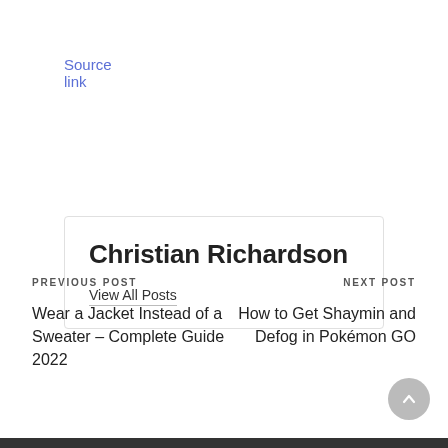Source link
Christian Richardson
View All Posts
PREVIOUS POST
Wear a Jacket Instead of a Sweater – Complete Guide 2022
NEXT POST
How to Get Shaymin and Defog in Pokémon GO